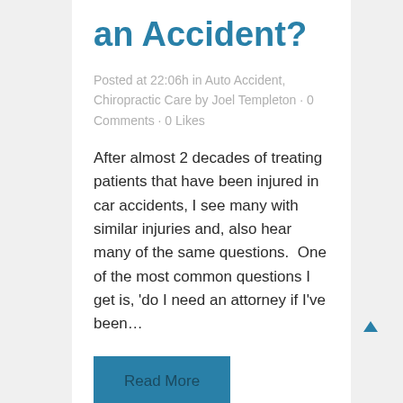an Accident?
Posted at 22:06h in Auto Accident, Chiropractic Care by Joel Templeton · 0 Comments · 0 Likes
After almost 2 decades of treating patients that have been injured in car accidents, I see many with similar injuries and, also hear many of the same questions.  One of the most common questions I get is, 'do I need an attorney if I've been…
Read More